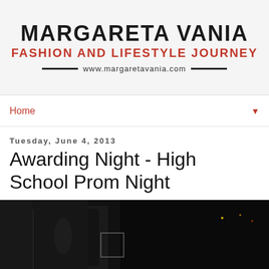[Figure (logo): Margareta Vania Fashion and Lifestyle Journey blog logo with website URL www.margaretavania.com]
Home
Tuesday, June 4, 2013
Awarding Night - High School Prom Night
[Figure (photo): Dark nighttime event photo showing a lit banner/screen with text partially visible reading 'NITE' and 'SISWA', from what appears to be a high school prom or awards night event.]